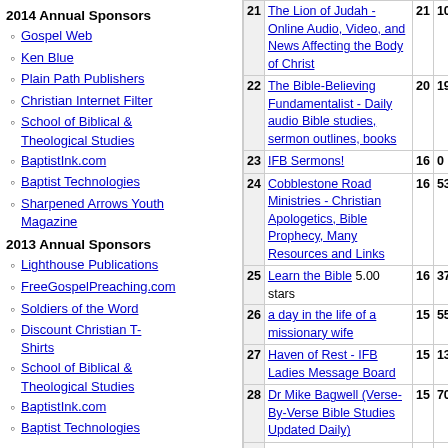2014 Annual Sponsors
Gospel Web
Ken Blue
Plain Path Publishers
Christian Internet Filter
School of Biblical & Theological Studies
BaptistInk.com
Baptist Technologies
Sharpened Arrows Youth Magazine
2013 Annual Sponsors
Lighthouse Publications
FreeGospelPreaching.com
Soldiers of the Word
Discount Christian T-Shirts
School of Biblical & Theological Studies
BaptistInk.com
Baptist Technologies
| Rank | Site | Col3 | Col4 |
| --- | --- | --- | --- |
| 21 | The Lion of Judah - Online Audio, Video, and News Affecting the Body of Christ | 21 | 10 |
| 22 | The Bible-Believing Fundamentalist - Daily audio Bible studies, sermon outlines, books | 20 | 19 |
| 23 | IFB Sermons! | 16 | 0 |
| 24 | Cobblestone Road Ministries - Christian Apologetics, Bible Prophecy, Many Resources and Links | 16 | 53 |
| 25 | Learn the Bible 5.00 stars | 16 | 37 |
| 26 | a day in the life of a missionary wife | 15 | 55 |
| 27 | Haven of Rest - IFB Ladies Message Board | 15 | 13 |
| 28 | Dr Mike Bagwell (Verse-By-Verse Bible Studies Updated Daily) | 15 | 70 |
| 29 | ChildCare Action Project (CAP) Ministry - Christian Movie Analysis Reports for Parents | 15 | 33 |
| 30 | The FundamentalTop500.com The Ultimate KJV Website! 5.00 stars | 14 | 18 |
| 31 | FUNDAMENTAL BAPTIST BOOKS -- THE KING JAMES BIBLE BOOKSTORE formerly Faith Music and Books 5.00 stars | 13 | 13 |
| 32 | Free Bulletin Insert, Sunday School Lessons, & A Daily Commentary Devotion (KJV) | 10 | 19 |
| 33 | Heritage Baptist Church - | 10 | 8 |